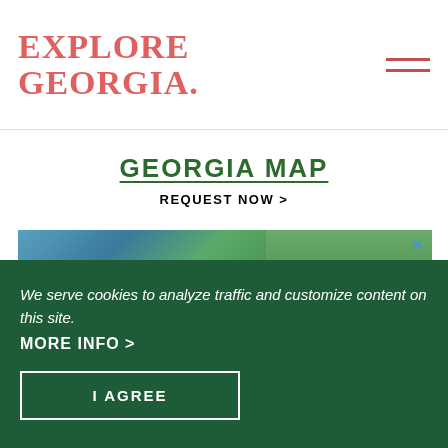EXPLORE GEORGIA
GEORGIA MAP
REQUEST NOW >
[Figure (photo): Advertisement image showing a lake with green trees and city buildings in the background, with travel brochures in the foreground. A close (X) button is visible in the top right.]
We serve cookies to analyze traffic and customize content on this site.
MORE INFO >
I AGREE